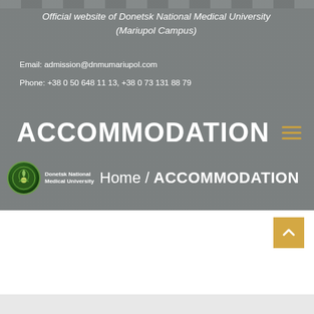Official website of Donetsk National Medical University (Mariupol Campus)
Email: admission@dnmumariupol.com
Phone: +38 0 50 648 11 13, +38 0 73 131 88 79
ACCOMMODATION
Home / ACCOMMODATION
[Figure (logo): Donetsk National Medical University circular logo with text]